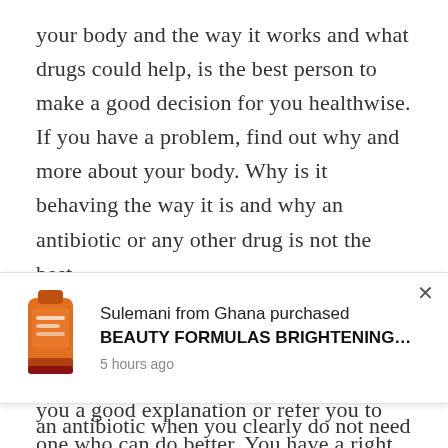your body and the way it works and what drugs could help, is the best person to make a good decision for you healthwise. If you have a problem, find out why and more about your body. Why is it behaving the way it is and why an antibiotic or any other drug is not the best.

A real health provider be it a pharmacist, a doctor or nurse, will be able to give you a good explanation or refer you to one who can do better. You have a right to ask - it's
[Figure (screenshot): E-commerce notification bar showing a product purchase notification. Image of an orange tube product on the left. Text reads: 'Sulemani from Ghana purchased BEAUTY FORMULAS BRIGHTENING... 5 hours ago'. Close button (×) on the right.]
an antibiotic when you clearly do not need